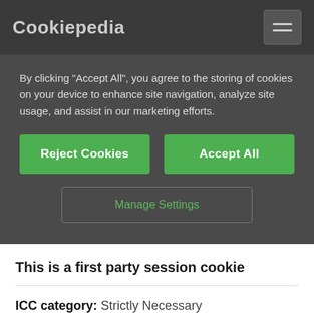Cookiepedia
By clicking “Accept All”, you agree to the storing of cookies on your device to enhance site navigation, analyze site usage, and assist in our marketing efforts.
Reject Cookies
Accept All
Manage Settings
This is a first party session cookie
ICC category: Strictly Necessary
Website: poemhunter.com